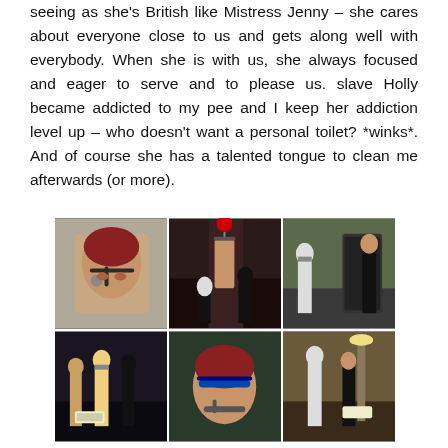seeing as she's British like Mistress Jenny – she cares about everyone close to us and gets along well with everybody. When she is with us, she always focused and eager to serve and to please us. slave Holly became addicted to my pee and I keep her addiction level up – who doesn't want a personal toilet? *winks*. And of course she has a talented tongue to clean me afterwards (or more).
[Figure (photo): Six screenshots from a 3D virtual world arranged in a 3x2 grid, showing virtual characters in various scenes]